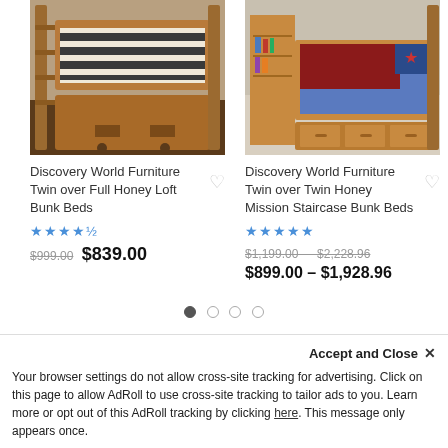[Figure (photo): Discovery World Furniture Twin over Full Honey Loft Bunk Beds - wooden bunk bed with striped bedding]
[Figure (photo): Discovery World Furniture Twin over Twin Honey Mission Staircase Bunk Beds - wooden bunk bed with bookcase headboard and storage drawers]
Discovery World Furniture Twin over Full Honey Loft Bunk Beds
★★★★½
$999.00 $839.00
Discovery World Furniture Twin over Twin Honey Mission Staircase Bunk Beds
★★★★★
$1,199.00 – $2,228.96  $899.00 – $1,928.96
Accept and Close ✕
Your browser settings do not allow cross-site tracking for advertising. Click on this page to allow AdRoll to use cross-site tracking to tailor ads to you. Learn more or opt out of this AdRoll tracking by clicking here. This message only appears once.